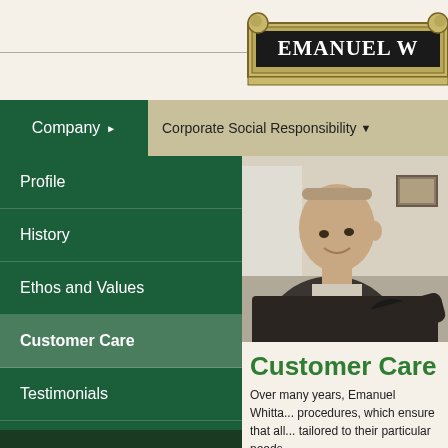[Figure (logo): Emanuel W company logo, ornate banner style with dark background and serif text]
Company ▶
Corporate Social Responsibility ▼
Profile
History
Ethos and Values
Customer Care
Testimonials
Accreditations
[Figure (photo): Man in dark fleece jacket leaning forward, smiling, indoors]
Customer Care
Over many years, Emanuel Whitta... procedures, which ensure that all... tailored to their particular needs...